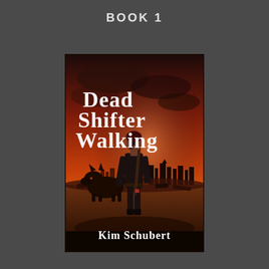BOOK 1
[Figure (illustration): Book cover for 'Dead Shifter Walking' by Kim Schubert. A dark fantasy cover showing a woman standing with her back to the viewer, holding a weapon, accompanied by a wolf-like creature. The background features a smoky red and orange sky with a ruined cityscape. The title 'Dead Shifter Walking' is displayed in large white serif font at the top, and the author name 'Kim Schubert' appears at the bottom in white serif font.]